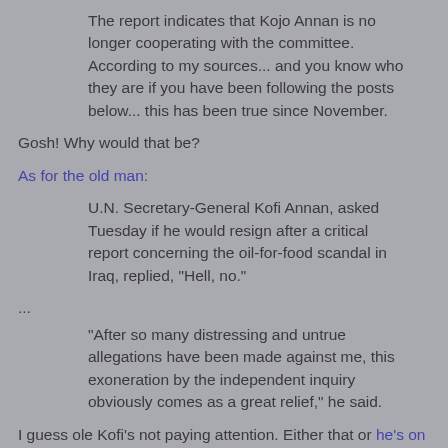The report indicates that Kojo Annan is no longer cooperating with the committee. According to my sources... and you know who they are if you have been following the posts below... this has been true since November.
Gosh! Why would that be?
As for the old man:
U.N. Secretary-General Kofi Annan, asked Tuesday if he would resign after a critical report concerning the oil-for-food scandal in Iraq, replied, "Hell, no."
...
"After so many distressing and untrue allegations have been made against me, this exoneration by the independent inquiry obviously comes as a great relief," he said.
I guess ole Kofi's not paying attention. Either that or he's on the "up" part of his mood cycle.